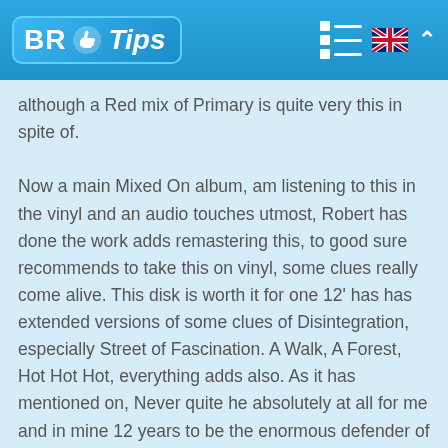BR Tips
although a Red mix of Primary is quite very this in spite of. Now a main Mixed On album, am listening to this in the vinyl and an audio touches utmost, Robert has done the work adds remastering this, to good sure recommends to take this on vinyl, some clues really come alive. This disk is worth it for one 12' has has extended versions of some clues of Disintegration, especially Street of Fascination. A Walk, A Forest, Hot Hot Hot, everything adds also. As it has mentioned on, Never quite he absolutely at all for me and in mine 12 years to be the enormous defender of A Cure, so only does